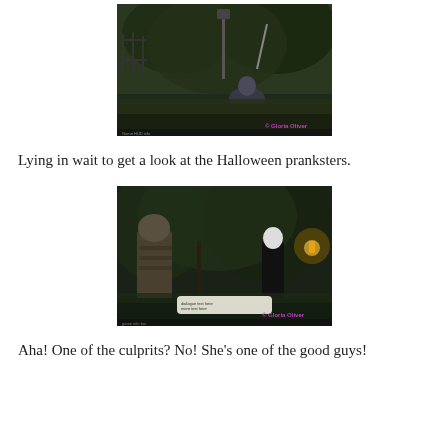[Figure (screenshot): Video game screenshot showing a character crouching behind bushes near a lamp post, watching in the dark with trees and structures visible. Watermark reads '© Gloria Oliver' in bottom right.]
Lying in wait to get a look at the Halloween pranksters.
[Figure (screenshot): Video game screenshot showing a character in armor from behind, facing a woman in dark robes standing near a glowing lantern among trees. A dialogue box is visible at the bottom. Watermark reads '© Gloria Oliver' in bottom right.]
Aha! One of the culprits? No! She's one of the good guys!